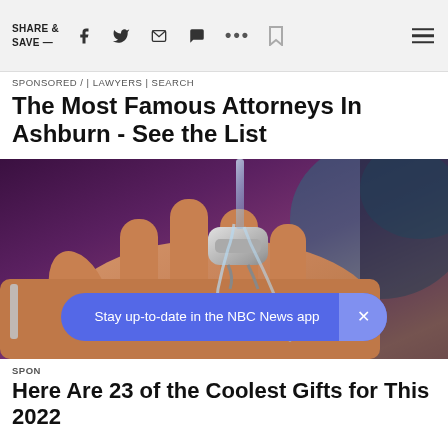SHARE & SAVE —
SPONSORED / | LAWYERS | SEARCH
The Most Famous Attorneys In Ashburn - See the List
[Figure (photo): Close-up of a hand wearing a metallic ring gadget with water flowing over it, against a dark purple background]
Stay up-to-date in the NBC News app  ×
SPON
Here Are 23 of the Coolest Gifts for This 2022